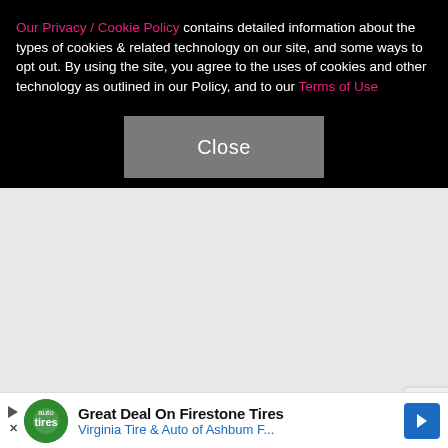Our Privacy / Cookie Policy contains detailed information about the types of cookies & related technology on our site, and some ways to opt out. By using the site, you agree to the uses of cookies and other technology as outlined in our Policy, and to our Terms of Use
[Figure (screenshot): A grey Close button on black background]
[Figure (screenshot): Advertisement banner: Great Deal On Firestone Tires - Virginia Tire & Auto of Ashbum F...]